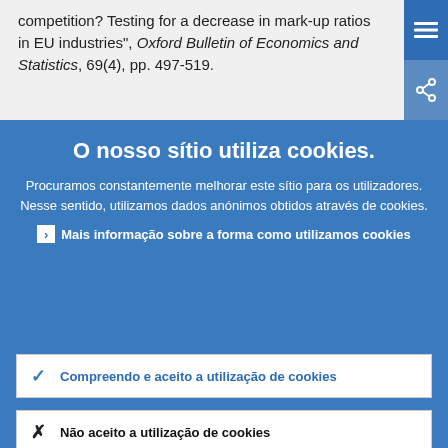competition? Testing for a decrease in mark-up ratios in EU industries", Oxford Bulletin of Economics and Statistics, 69(4), pp. 497-519.
O nosso sítio utiliza cookies.
Procuramos constantemente melhorar este sítio para os utilizadores. Nesse sentido, utilizamos dados anónimos obtidos através de cookies.
Mais informação sobre a forma como utilizamos cookies
Compreendo e aceito a utilização de cookies
Não aceito a utilização de cookies